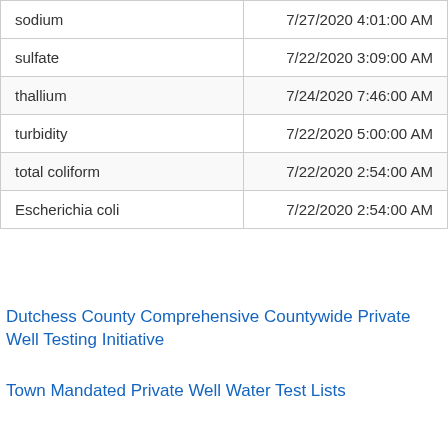| Analyte | Date/Time |
| --- | --- |
| sodium | 7/27/2020 4:01:00 AM |
| sulfate | 7/22/2020 3:09:00 AM |
| thallium | 7/24/2020 7:46:00 AM |
| turbidity | 7/22/2020 5:00:00 AM |
| total coliform | 7/22/2020 2:54:00 AM |
| Escherichia coli | 7/22/2020 2:54:00 AM |
Dutchess County Comprehensive Countywide Private Well Testing Initiative
Town Mandated Private Well Water Test Lists